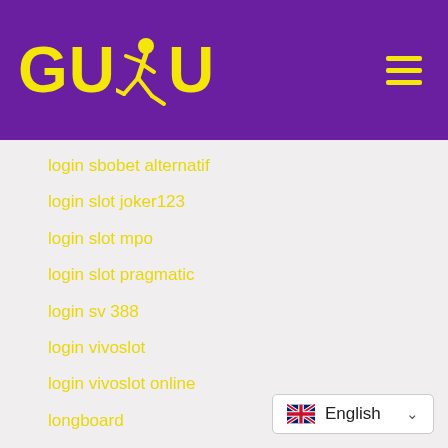GUDU (logo with runner icon) — hamburger menu
login sbobet alternatif
login slot joker123
login slot mpo
login slot pragmatic
login sv 388
login vivoslot
login vivoslot online
longboard
lottery
lotto and casino
Lotto Online
love
[Figure (screenshot): Language selector widget showing UK flag and 'English' with dropdown arrow]